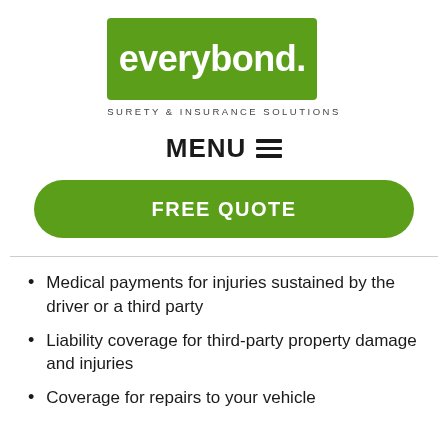[Figure (logo): Everybond surety and insurance solutions logo — green rectangle with white bold text 'everybond.' and tagline 'SURETY & INSURANCE SOLUTIONS' below]
MENU ☰
FREE QUOTE
Medical payments for injuries sustained by the driver or a third party
Liability coverage for third-party property damage and injuries
Coverage for repairs to your vehicle